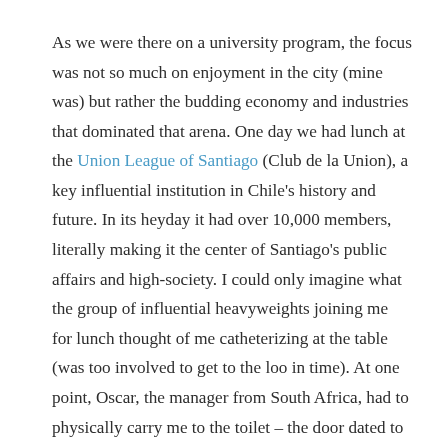As we were there on a university program, the focus was not so much on enjoyment in the city (mine was) but rather the budding economy and industries that dominated that arena. One day we had lunch at the Union League of Santiago (Club de la Union), a key influential institution in Chile's history and future. In its heyday it had over 10,000 members, literally making it the center of Santiago's public affairs and high-society. I could only imagine what the group of influential heavyweights joining me for lunch thought of me catheterizing at the table (was too involved to get to the loo in time). At one point, Oscar, the manager from South Africa, had to physically carry me to the toilet – the door dated to 1925.